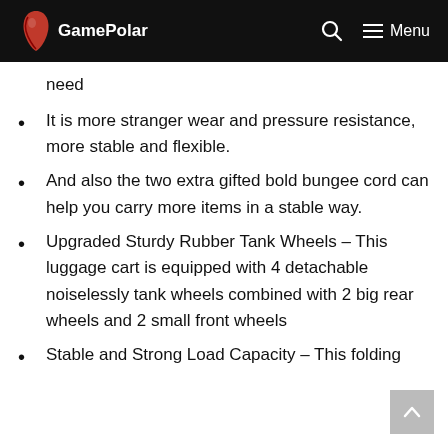GamePolar
need
It is more stranger wear and pressure resistance, more stable and flexible.
And also the two extra gifted bold bungee cord can help you carry more items in a stable way.
Upgraded Sturdy Rubber Tank Wheels – This luggage cart is equipped with 4 detachable noiselessly tank wheels combined with 2 big rear wheels and 2 small front wheels
Stable and Strong Load Capacity – This folding